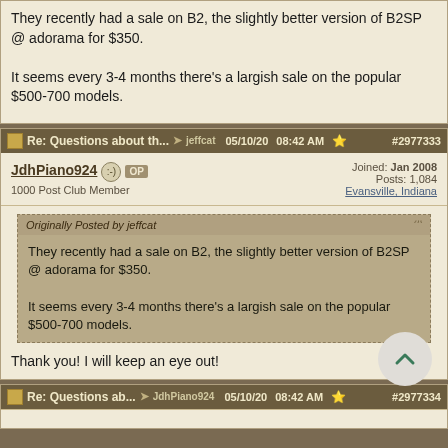They recently had a sale on B2, the slightly better version of B2SP @ adorama for $350.

It seems every 3-4 months there's a largish sale on the popular $500-700 models.
Re: Questions about th... jeffcat 05/10/20 08:42 AM #2977333
JdhPiano924 OP
1000 Post Club Member
Joined: Jan 2008
Posts: 1,084
Evansville, Indiana
Originally Posted by jeffcat
They recently had a sale on B2, the slightly better version of B2SP @ adorama for $350.

It seems every 3-4 months there's a largish sale on the popular $500-700 models.
Thank you! I will keep an eye out!
Re: Questions ab... JdhPiano924 05/10/20 08:42 AM #2977334